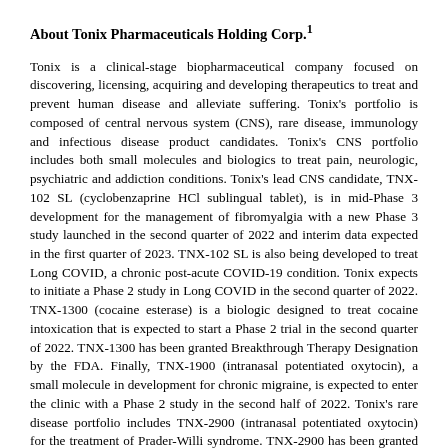About Tonix Pharmaceuticals Holding Corp.1
Tonix is a clinical-stage biopharmaceutical company focused on discovering, licensing, acquiring and developing therapeutics to treat and prevent human disease and alleviate suffering. Tonix's portfolio is composed of central nervous system (CNS), rare disease, immunology and infectious disease product candidates. Tonix's CNS portfolio includes both small molecules and biologics to treat pain, neurologic, psychiatric and addiction conditions. Tonix's lead CNS candidate, TNX-102 SL (cyclobenzaprine HCl sublingual tablet), is in mid-Phase 3 development for the management of fibromyalgia with a new Phase 3 study launched in the second quarter of 2022 and interim data expected in the first quarter of 2023. TNX-102 SL is also being developed to treat Long COVID, a chronic post-acute COVID-19 condition. Tonix expects to initiate a Phase 2 study in Long COVID in the second quarter of 2022. TNX-1300 (cocaine esterase) is a biologic designed to treat cocaine intoxication that is expected to start a Phase 2 trial in the second quarter of 2022. TNX-1300 has been granted Breakthrough Therapy Designation by the FDA. Finally, TNX-1900 (intranasal potentiated oxytocin), a small molecule in development for chronic migraine, is expected to enter the clinic with a Phase 2 study in the second half of 2022. Tonix's rare disease portfolio includes TNX-2900 (intranasal potentiated oxytocin) for the treatment of Prader-Willi syndrome. TNX-2900 has been granted Orphan-Drug Designation by the FDA. Tonix's immunology portfolio includes biologics to address organ transplant rejection, autoimmunity and cancer, including TNX-1500 which is a humanized monoclonal antibody targeting CD40-ligand being developed for the prevention of allograft and xenograft rejection and for the treatment of autoimmune diseases. Phase 1 study of TNX-1500 is expected to be initiated in the second...